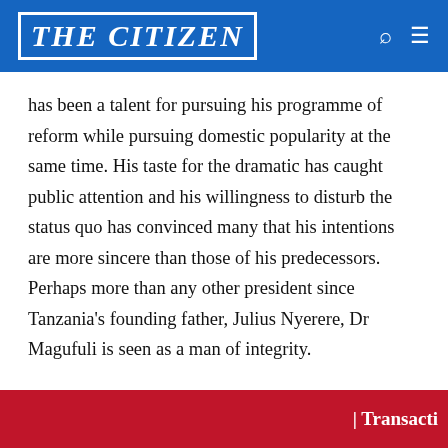THE CITIZEN
has been a talent for pursuing his programme of reform while pursuing domestic popularity at the same time. His taste for the dramatic has caught public attention and his willingness to disturb the status quo has convinced many that his intentions are more sincere than those of his predecessors. Perhaps more than any other president since Tanzania's founding father, Julius Nyerere, Dr Magufuli is seen as a man of integrity.
While Dr Magufuli has skilfully coupled popular politics
| Transacti